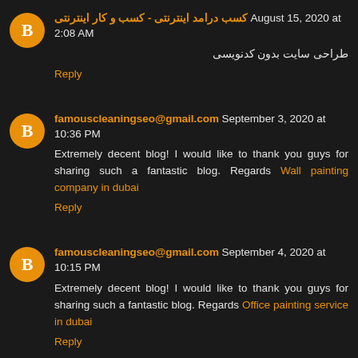کسب درامد اینترنتی - کسب و کار اینترنتی August 15, 2020 at 2:08 AM
طراحی سایت بدون کدنویسی
Reply
famouscleaningseo@gmail.com September 3, 2020 at 10:36 PM
Extremely decent blog! I would like to thank you guys for sharing such a fantastic blog. Regards Wall painting company in dubai
Reply
famouscleaningseo@gmail.com September 4, 2020 at 10:15 PM
Extremely decent blog! I would like to thank you guys for sharing such a fantastic blog. Regards Office painting service in dubai
Reply